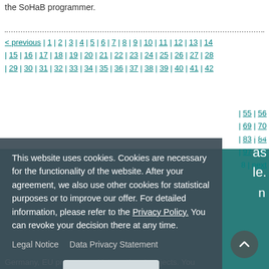the SoHaB programmer.
< previous | 1 | 2 | 3 | 4 | 5 | 6 | 7 | 8 | 9 | 10 | 11 | 12 | 13 | 14 | 15 | 16 | 17 | 18 | 19 | 20 | 21 | 22 | 23 | 24 | 25 | 26 | 27 | 28 | 29 | 30 | 31 | 32 | 33 | 34 | 35 | 36 | 37 | 38 | 39 | 40 | 41 | 42 | ... | 55 | 56 | ... | 69 | 70 | ... | 83 | 84 | ... | 97 | 98 | ... | 8 | next
[Figure (screenshot): Cookie consent overlay dialog on a website, with dark grey semi-transparent background. Contains text: 'This website uses cookies. Cookies are necessary for the functionality of the website. After your agreement, we also use other cookies for statistical purposes or to improve our offer. For detailed information, please refer to the Privacy Policy. You can revoke your decision there at any time.' Links: Legal Notice, Data Privacy Statement. Buttons: Decline, Allow tracking cookies.]
Germany, EU projects and international projects. You